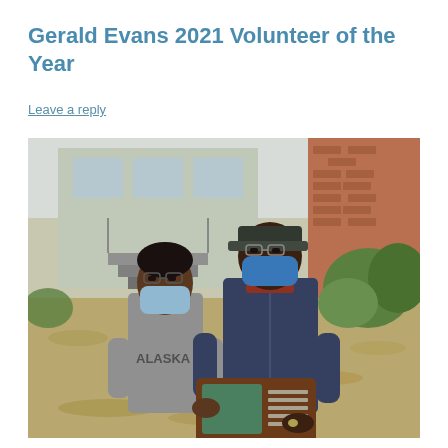Gerald Evans 2021 Volunteer of the Year
Leave a reply
[Figure (photo): Two people wearing face masks standing outdoors in front of a brick building with steps and shrubbery. The person on the left wears a gray hoodie with 'ALASKA' text and a light blue mask. The person on the right wears a dark blue zip-up jacket, a cap, and a blue mask. Together they hold a wooden plaque award.]